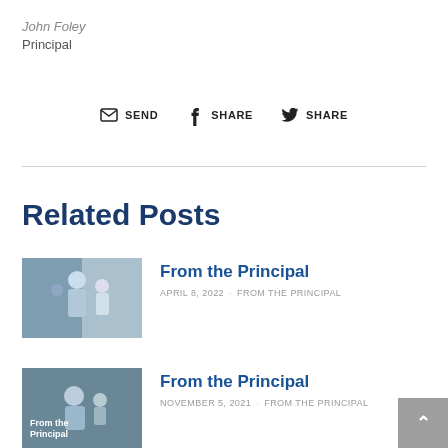John Foley
Principal
SEND  SHARE  SHARE
Related Posts
[Figure (photo): Photo of people at a school entrance]
From the Principal
APRIL 8, 2022  FROM THE PRINCIPAL
[Figure (photo): Photo with overlay text 'From the Principal']
From the Principal
NOVEMBER 5, 2021  FROM THE PRINCIPAL